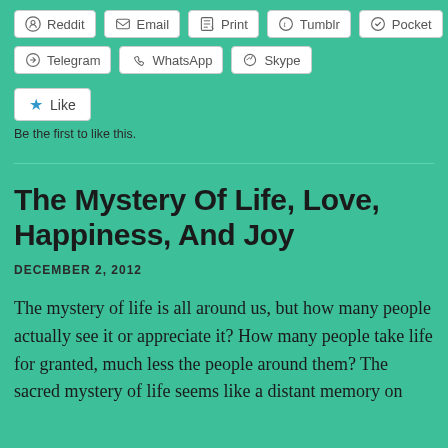[Figure (other): Row of social share buttons: Reddit, Email, Print, Tumblr, Pocket]
[Figure (other): Row of social share buttons: Telegram, WhatsApp, Skype]
[Figure (other): Like button widget]
Be the first to like this.
The Mystery Of Life, Love, Happiness, And Joy
DECEMBER 2, 2012
The mystery of life is all around us, but how many people actually see it or appreciate it? How many people take life for granted, much less the people around them? The sacred mystery of life seems like a distant memory on